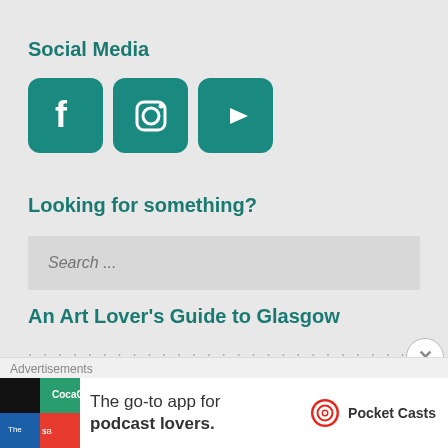Social Media
[Figure (illustration): Three social media icons: Facebook, Instagram, YouTube, each in teal rounded square buttons]
Looking for something?
Search ...
An Art Lover's Guide to Glasgow
(partially obscured blurred text below heading)
[Figure (other): Advertisement banner: Pocket Casts app - The go-to app for podcast lovers.]